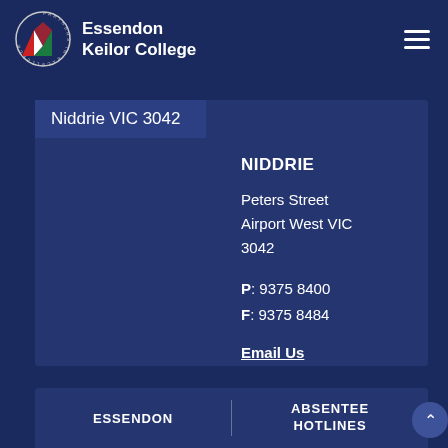[Figure (logo): Essendon Keilor College logo with circular badge reading 'Partners in Excellence' and triangular coloured emblem in red, white and green]
Essendon Keilor College
Niddrie VIC 3042
NIDDRIE
Peters Street Airport West VIC 3042

P: 9375 8400
F: 9375 8484

Email Us
ESSENDON
ABSENTEE HOTLINES